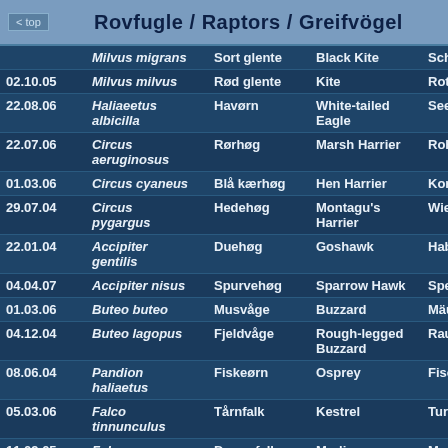Rovfugle / Raptors / Greifvögel
| Date | Latin | Danish | English | German |
| --- | --- | --- | --- | --- |
|  | Milvus migrans | Sort glente | Black Kite | Schw… |
| 02.10.05 | Milvus milvus | Rød glente | Kite | Rote… |
| 22.08.06 | Haliaeetus albicilla | Havørn | White-tailed Eagle | Seea… |
| 22.07.06 | Circus aeruginosus | Rørhøg | Marsh Harrier | Rohr… |
| 01.03.06 | Circus cyaneus | Blå kærhøg | Hen Harrier | Korn… |
| 29.07.04 | Circus pygargus | Hedehøg | Montagu's Harrier | Wies… |
| 22.01.04 | Accipiter gentilis | Duehøg | Goshawk | Habi… |
| 04.04.07 | Accipiter nisus | Spurvehøg | Sparrow Hawk | Sper… |
| 01.03.06 | Buteo buteo | Musvåge | Buzzard | Mäus… |
| 04.12.04 | Buteo lagopus | Fjeldvåge | Rough-legged Buzzard | Rauh… |
| 08.06.04 | Pandion haliaetus | Fiskeørn | Osprey | Fisch… |
| 05.03.06 | Falco tinnunculus | Tårnfalk | Kestrel | Turm… |
| 11.09.05 | Falco columbarius | Dværgfalk | Merlin | Merli… |
| 07.10.05 | Falco | Vandrefalk | Peregrine | Wan… |